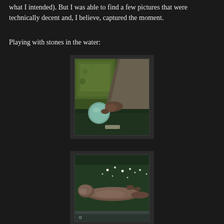what I intended). But I was able to find a few pictures that were technically decent and, I believe, captured the moment.
Playing with stones in the water:
[Figure (photo): An otter or similar aquatic animal underwater near mossy green rocks and large grey stones, holding or touching a round blue-green object (possibly a stone or glass ball) in dark water.]
[Figure (photo): An otter floating on its back in green-tinted water near the edge of a pool, with small bright reflections of lights visible on the water surface.]